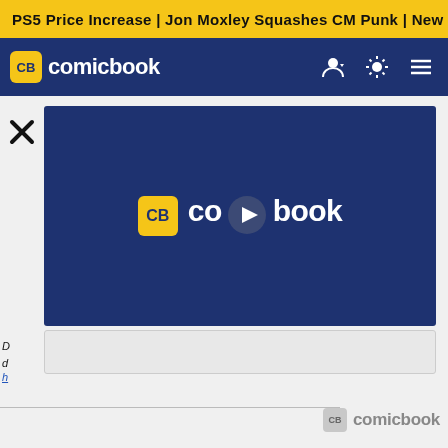PS5 Price Increase | Jon Moxley Squashes CM Punk | New Ge
[Figure (logo): Comicbook.com navigation bar with CB logo badge and site wordmark, user icon, brightness toggle, and hamburger menu]
[Figure (screenshot): Video player overlay showing Comicbook.com logo with play button circle in the center, dark navy background]
D... d... h...
[Figure (logo): Comicbook.com logo watermark at bottom right — grey CB badge and grey wordmark 'comicbook']